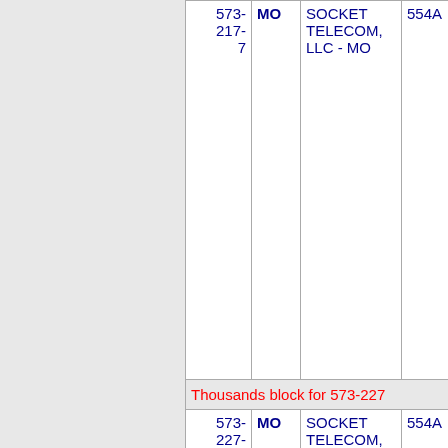| Number | State | Carrier | Code | Name |
| --- | --- | --- | --- | --- |
| 573-217-7 | MO | SOCKET TELECOM, LLC - MO | 554A | CAMPBEL... |
| Thousands block for 573-227 |  |  |  |  |
| 573-227-7 | MO | SOCKET TELECOM, LLC - MO | 554A | MARSTON... |